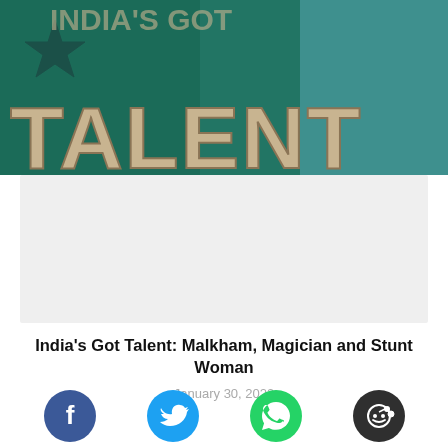[Figure (photo): India's Got Talent show banner with star logo and large golden TALENT text on teal/dark green background]
India’s Got Talent: Malkham, Magician and Stunt Woman
January 30, 2022
[Figure (other): Gray advertisement placeholder block]
[Figure (other): Social sharing buttons row: Facebook, Twitter, WhatsApp, Reddit]